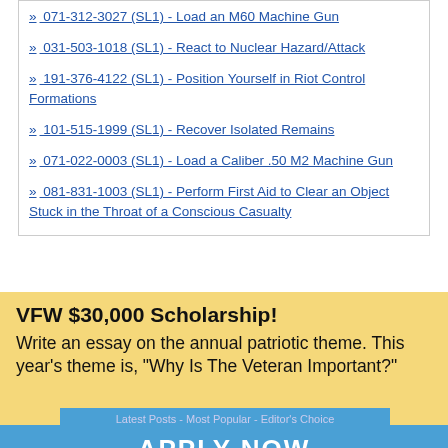» 071-312-3027 (SL1) - Load an M60 Machine Gun
» 031-503-1018 (SL1) - React to Nuclear Hazard/Attack
» 191-376-4122 (SL1) - Position Yourself in Riot Control Formations
» 101-515-1999 (SL1) - Recover Isolated Remains
» 071-022-0003 (SL1) - Load a Caliber .50 M2 Machine Gun
» 081-831-1003 (SL1) - Perform First Aid to Clear an Object Stuck in the Throat of a Conscious Casualty
Available Subcategories :
| CTT Testing Information | Other Common Tasks | Skill Level 1 |
[Figure (other): VFW $30,000 Scholarship advertisement overlay with yellow background. Text: VFW $30,000 Scholarship! Write an essay on the annual patriotic theme. This year's theme is, "Why Is The Veteran Important?"]
From Our Benefits Blog
Latest Posts - Most Popular - Editor's Choice
[Figure (other): Blue APPLY NOW button]